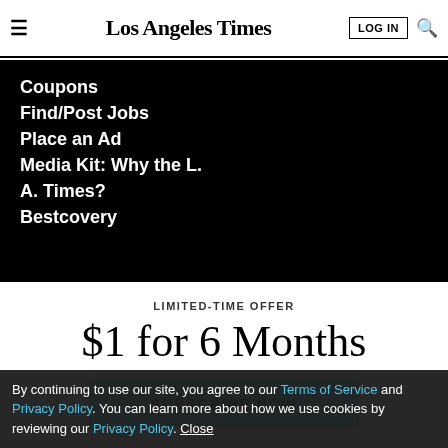Los Angeles Times | LOG IN | Search
Coupons
Find/Post Jobs
Place an Ad
Media Kit: Why the L. A. Times?
Bestcovery
LIMITED-TIME OFFER
$1 for 6 Months
SUBSCRIBE NOW
By continuing to use our site, you agree to our Terms of Service and Privacy Policy. You can learn more about how we use cookies by reviewing our Privacy Policy. Close